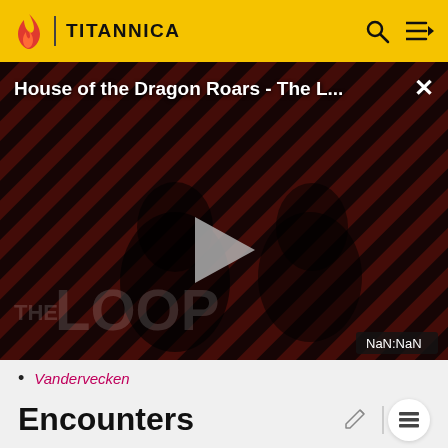TITANNICA
[Figure (screenshot): Video player showing 'House of the Dragon Roars - The L...' with a play button, diagonal stripe background in red and dark, two figures visible in the background, 'THE LOOP' text watermark, close (X) button, and NaN:NaN time display badge.]
Vandervecken
Encounters
Bivalve
Carnivorous Plant